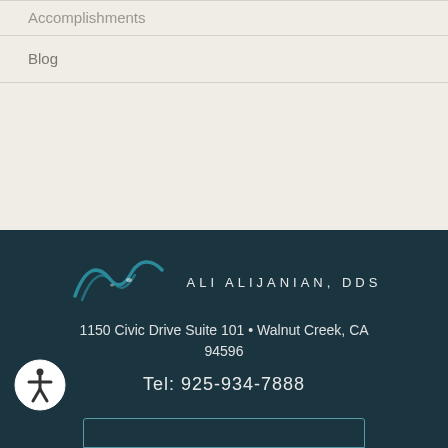Accomplishments
Blog
[Figure (logo): Ali Alijanian DDS logo with stylized wave graphic in teal and the text ALI ALIJANIAN, DDS in spaced capitals]
1150 Civic Drive Suite 101 • Walnut Creek, CA 94596
Tel:  925-934-7888